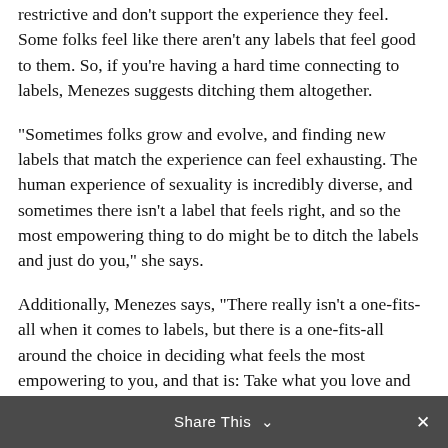restrictive and don't support the experience they feel. Some folks feel like there aren't any labels that feel good to them. So, if you're having a hard time connecting to labels, Menezes suggests ditching them altogether.
“Sometimes folks grow and evolve, and finding new labels that match the experience can feel exhausting. The human experience of sexuality is incredibly diverse, and sometimes there isn’t a label that feels right, and so the most empowering thing to do might be to ditch the labels and just do you,” she says.
Additionally, Menezes says, “There really isn’t a one-fits-all when it comes to labels, but there is a one-fits-all around the choice in deciding what feels the most empowering to you, and that is: Take what you love and leave the rest. You get to choose what feels right for you.”
Dating when labeling is a
Share This ∨  ×